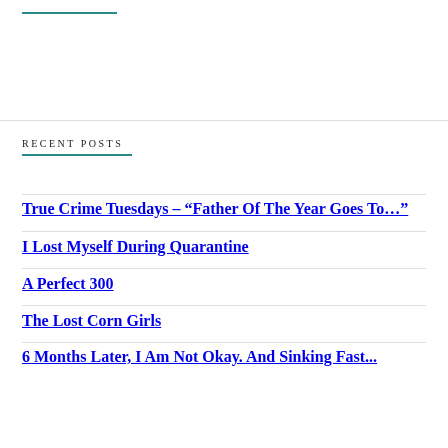RECENT POSTS
True Crime Tuesdays – “Father Of The Year Goes To…”
I Lost Myself During Quarantine
A Perfect 300
The Lost Corn Girls
6 Months Later, I Am Not Okay. And Sinking Fast...